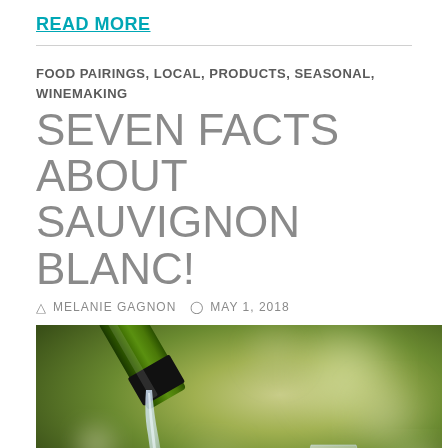READ MORE
FOOD PAIRINGS, LOCAL, PRODUCTS, SEASONAL, WINEMAKING
SEVEN FACTS ABOUT SAUVIGNON BLANC!
MELANIE GAGNON   MAY 1, 2018
[Figure (photo): Photo of white wine being poured from a green bottle into a clear wine glass, with a blurred green outdoor background.]